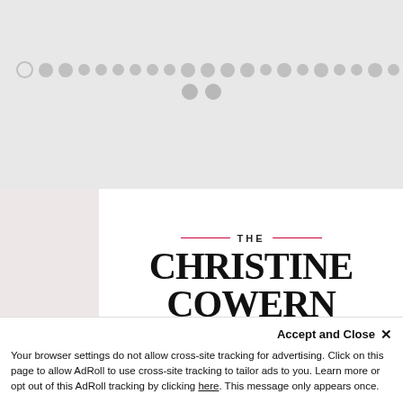[Figure (screenshot): Gray loading area with a row of circular gray dots (loading indicator) arranged in a horizontal line, plus two more dots below center.]
[Figure (logo): The Christine Cowern Real Estate Team logo: THE in small caps with red lines on either side, then CHRISTINE COWERN in large serif bold black text, and REAL ESTATE TEAM in white text on a red rectangle badge.]
Your browser settings do not allow cross-site tracking for advertising. Click on this page to allow AdRoll to use cross-site tracking to tailor ads to you. Learn more or opt out of this AdRoll tracking by clicking here. This message only appears once.